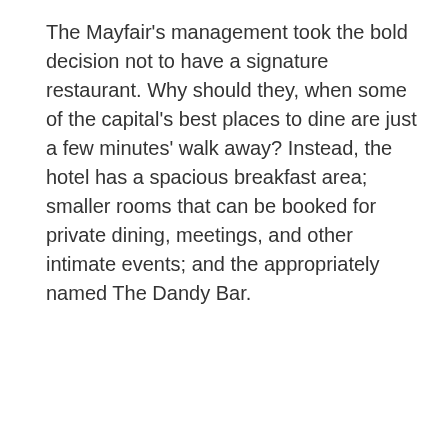The Mayfair's management took the bold decision not to have a signature restaurant. Why should they, when some of the capital's best places to dine are just a few minutes' walk away? Instead, the hotel has a spacious breakfast area; smaller rooms that can be booked for private dining, meetings, and other intimate events; and the appropriately named The Dandy Bar.